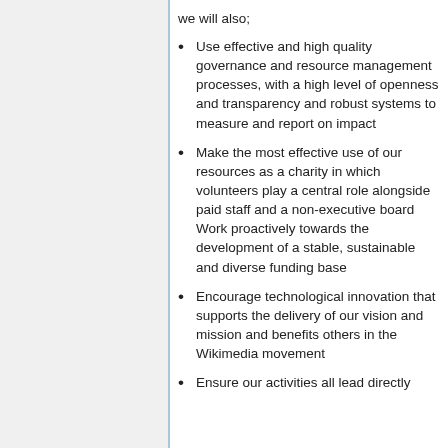we will also;
Use effective and high quality governance and resource management processes, with a high level of openness and transparency and robust systems to measure and report on impact
Make the most effective use of our resources as a charity in which volunteers play a central role alongside paid staff and a non-executive board Work proactively towards the development of a stable, sustainable and diverse funding base
Encourage technological innovation that supports the delivery of our vision and mission and benefits others in the Wikimedia movement
Ensure our activities all lead directly